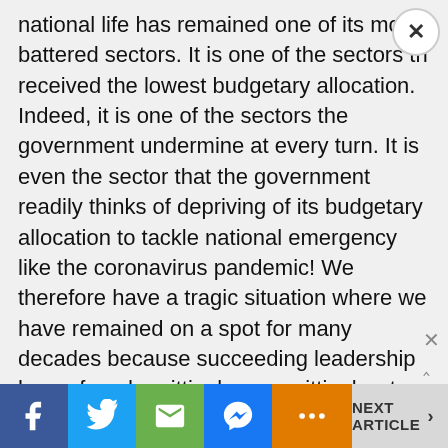national life has remained one of its most battered sectors. It is one of the sectors that received the lowest budgetary allocation. Indeed, it is one of the sectors the government undermine at every turn. It is even the sector that the government readily thinks of depriving of its budgetary allocation to tackle national emergency like the coronavirus pandemic! We therefore have a tragic situation where we have remained on a spot for many decades because succeeding leadership has refused—wittingly or unwittingly—to generate a national discourse that will focus squarely on Nigeria's national failings, chief of which is the blatant lack of a
NEXT ARTICLE >